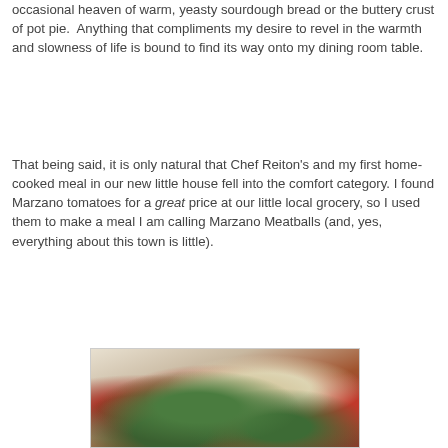occasional heaven of warm, yeasty sourdough bread or the buttery crust of pot pie.  Anything that compliments my desire to revel in the warmth and slowness of life is bound to find its way onto my dining room table.
That being said, it is only natural that Chef Reiton's and my first home-cooked meal in our new little house fell into the comfort category. I found Marzano tomatoes for a great price at our little local grocery, so I used them to make a meal I am calling Marzano Meatballs (and, yes, everything about this town is little).
[Figure (photo): A photo of a dish of Marzano Meatballs in a white bowl or pan, topped with shaved cheese, fresh basil leaves, and tomato sauce.]